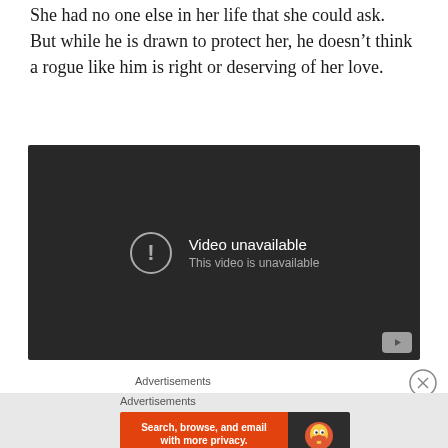She had no one else in her life that she could ask.  But while he is drawn to protect her, he doesn’t think a rogue like him is right or deserving of her love.
[Figure (screenshot): YouTube video player showing 'Video unavailable' error message with circle exclamation icon on dark background, YouTube logo button in bottom right corner.]
Advertisements
Advertisements
[Figure (screenshot): DuckDuckGo advertisement banner: orange left panel reading 'Search, browse, and email with more privacy. All in One Free App' and dark right panel with DuckDuckGo duck logo and DuckDuckGo text.]